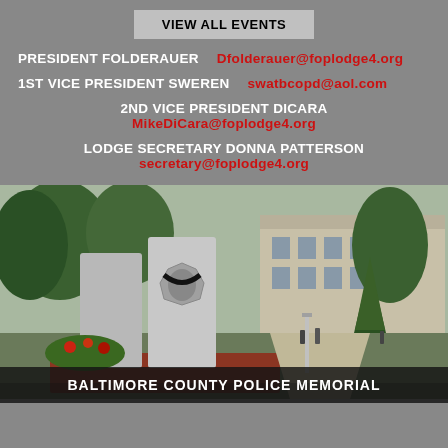VIEW ALL EVENTS
PRESIDENT FOLDERAUER    Dfolderauer@foplodge4.org
1ST VICE PRESIDENT SWEREN    swatbcopd@aol.com
2ND VICE PRESIDENT DICARA
MikeDiCara@foplodge4.org
LODGE SECRETARY DONNA PATTERSON
secretary@foplodge4.org
[Figure (photo): Outdoor photograph of Baltimore County Police Memorial — a large granite stone monument with police badge emblem, surrounded by trees and red flowering plants, with a beige government building in the background.]
BALTIMORE COUNTY POLICE MEMORIAL